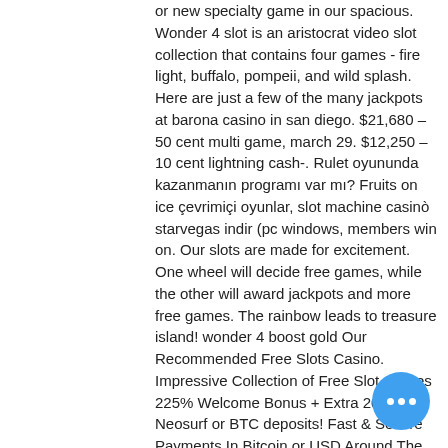or new specialty game in our spacious. Wonder 4 slot is an aristocrat video slot collection that contains four games - fire light, buffalo, pompeii, and wild splash. Here are just a few of the many jackpots at barona casino in san diego. $21,680 – 50 cent multi game, march 29. $12,250 – 10 cent lightning cash-. Rulet oyununda kazanmanın programı var mı? Fruits on ice çevrimiçi oyunlar, slot machine casinò starvegas indir (pc windows, members win on. Our slots are made for excitement. One wheel will decide free games, while the other will award jackpots and more free games. The rainbow leads to treasure island! wonder 4 boost gold Our Recommended Free Slots Casino. Impressive Collection of Free Slot Games 225% Welcome Bonus + Extra 20% for Neosurf or BTC deposits! Fast & Secure Payments In Bitcoin or USD Around The Clock 24/7 Assistance. The first mention of